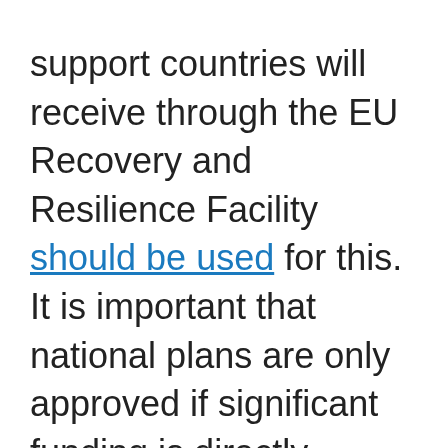support countries will receive through the EU Recovery and Resilience Facility should be used for this. It is important that national plans are only approved if significant funding is directly allocated to public health and care systems.
Long-term care should be included in the so-called stress tests set